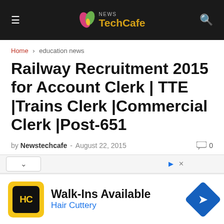News TechCafe
Home > education news
Railway Recruitment 2015 for Account Clerk | TTE |Trains Clerk |Commercial Clerk |Post-651
by Newstechcafe - August 22, 2015  0
[Figure (screenshot): Advertisement banner for Hair Cuttery showing Walk-Ins Available text, HC logo in yellow/black, and a blue diamond arrow icon]